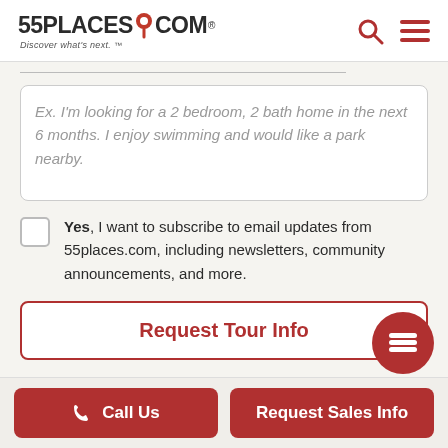[Figure (logo): 55places.com logo with red map pin icon and tagline 'Discover what's next.']
Ex. I'm looking for a 2 bedroom, 2 bath home in the next 6 months. I enjoy swimming and would like a park nearby.
Yes, I want to subscribe to email updates from 55places.com, including newsletters, community announcements, and more.
Request Tour Info
Call Us
Request Sales Info